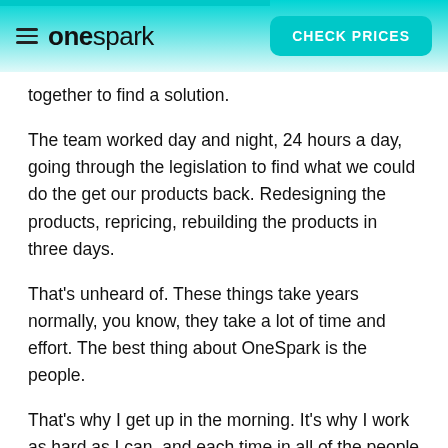onespark | CHECK PRICES
together to find a solution.
The team worked day and night, 24 hours a day, going through the legislation to find what we could do the get our products back. Redesigning the products, repricing, rebuilding the products in three days.
That's unheard of. These things take years normally, you know, they take a lot of time and effort. The best thing about OneSpark is the people.
That's why I get up in the morning. It's why I work as hard as I can, and each time in all of the people that that's around me, that I learn from each day. But I'm the biggest fan of the people that we have like. It's incredible